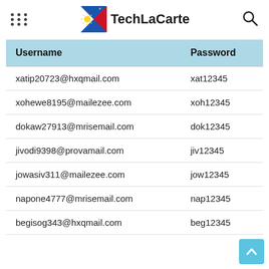TechLaCarte
| Username | Password |
| --- | --- |
| xatip20723@hxqmail.com | xat12345 |
| xohewe8195@mailezee.com | xoh12345 |
| dokaw27913@mrisemail.com | dok12345 |
| jivodi9398@provamail.com | jiv12345 |
| jowasiv311@mailezee.com | jow12345 |
| napone4777@mrisemail.com | nap12345 |
| begisog343@hxqmail.com | beg12345 |